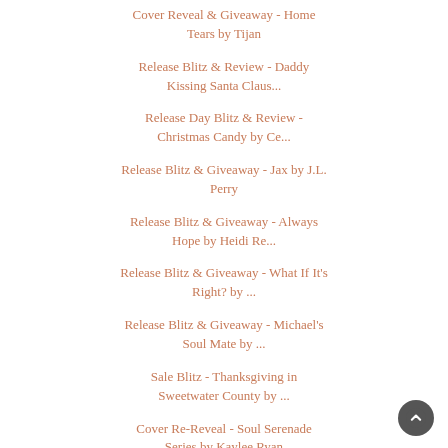Cover Reveal & Giveaway - Home Tears by Tijan
Release Blitz & Review - Daddy Kissing Santa Claus...
Release Day Blitz & Review - Christmas Candy by Ce...
Release Blitz & Giveaway - Jax by J.L. Perry
Release Blitz & Giveaway - Always Hope by Heidi Re...
Release Blitz & Giveaway - What If It's Right? by ...
Release Blitz & Giveaway - Michael's Soul Mate by ...
Sale Blitz - Thanksgiving in Sweetwater County by ...
Cover Re-Reveal - Soul Serenade Series by Kaylee Ryan
Excerpt Reveal - Own by KI Lynn & N. Isabelle Blanco